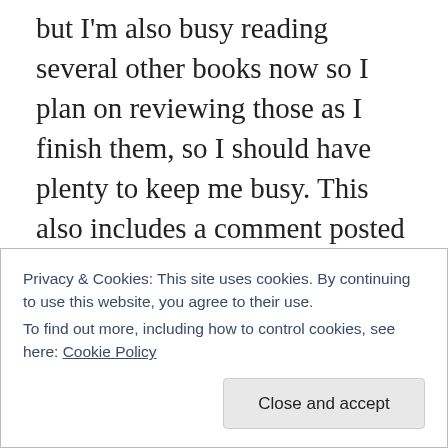but I'm also busy reading several other books now so I plan on reviewing those as I finish them, so I should have plenty to keep me busy. This also includes a comment posted earlier this week by a Robert G. Price. I have it on my Kindle and when I finish the reading I need to do first on there I plan to get started and write a response. For now, let's move on to Markos's book.
Markos's book is divided into two parts. The first part is looking at major names that have been influences in the world of Christian apologetics. The second part is looking
Privacy & Cookies: This site uses cookies. By continuing to use this website, you agree to their use.
To find out more, including how to control cookies, see here: Cookie Policy
Close and accept